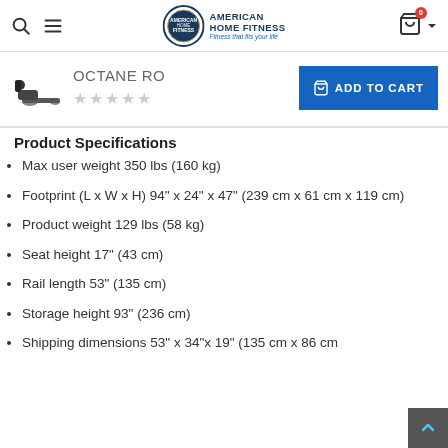American Home Fitness — navigation bar with logo, search, menu, cart
[Figure (logo): American Home Fitness circular logo with shopping bag icon and cart with badge 0]
OCTANE RO
Product Specifications
Max user weight 350 lbs (160 kg)
Footprint (L x W x H) 94" x 24" x 47" (239 cm x 61 cm x 119 cm)
Product weight 129 lbs (58 kg)
Seat height 17" (43 cm)
Rail length 53" (135 cm)
Storage height 93" (236 cm)
Shipping dimensions 53" x 34"x 19" (135 cm x 86 cm